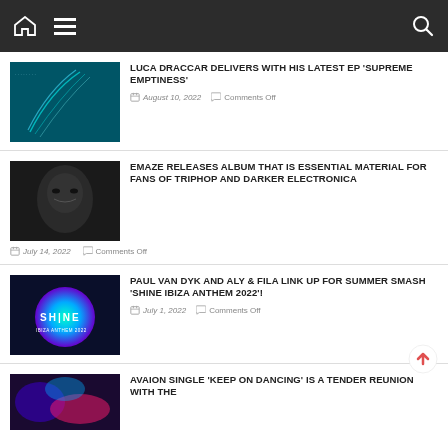Navigation bar with home, menu, and search icons
LUCA DRACCAR DELIVERS WITH HIS LATEST EP 'SUPREME EMPTINESS' — August 10, 2022 — Comments Off
EMAZE RELEASES ALBUM THAT IS ESSENTIAL MATERIAL FOR FANS OF TRIPHOP AND DARKER ELECTRONICA — July 14, 2022 — Comments Off
PAUL VAN DYK AND ALY & FILA LINK UP FOR SUMMER SMASH 'SHINE IBIZA ANTHEM 2022'! — July 1, 2022 — Comments Off
AVAION SINGLE 'KEEP ON DANCING' IS A TENDER REUNION WITH THE...